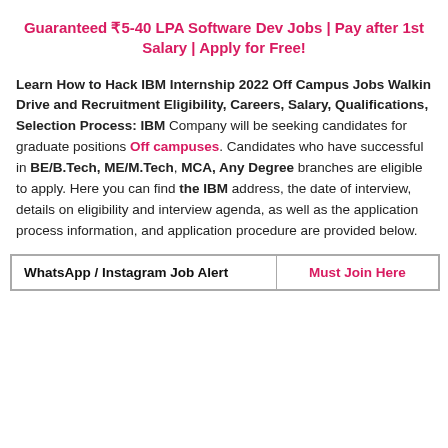Guaranteed ₹5-40 LPA Software Dev Jobs | Pay after 1st Salary | Apply for Free!
Learn How to Hack IBM Internship 2022 Off Campus Jobs Walkin Drive and Recruitment Eligibility, Careers, Salary, Qualifications, Selection Process: IBM Company will be seeking candidates for graduate positions Off campuses. Candidates who have successful in BE/B.Tech, ME/M.Tech, MCA, Any Degree branches are eligible to apply. Here you can find the IBM address, the date of interview, details on eligibility and interview agenda, as well as the application process information, and application procedure are provided below.
| WhatsApp / Instagram Job Alert | Must Join Here |
| --- | --- |